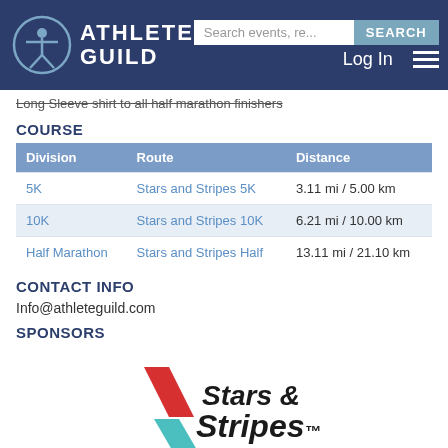ATHLETE GUILD — Search events | Log In
Long Sleeve shirt to all half marathon finishers
COURSE
| Division | Route | Distance |
| --- | --- | --- |
| 5K | Stars and Stripes 5K | 3.11 mi / 5.00 km |
| 10K | Stars and Stripes 10K | 6.21 mi / 10.00 km |
| Half Marathon | Stars and Stripes Half | 13.11 mi / 21.10 km |
CONTACT INFO
Info@athleteguild.com
SPONSORS
[Figure (logo): Stars & Stripes Drive-In Theatre logo with red and teal chevron marks]